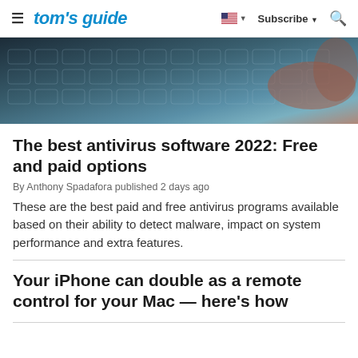tom's guide — Subscribe
[Figure (photo): Close-up photo of hands typing on a dark laptop keyboard with blue-tinted lighting]
The best antivirus software 2022: Free and paid options
By Anthony Spadafora published 2 days ago
These are the best paid and free antivirus programs available based on their ability to detect malware, impact on system performance and extra features.
Your iPhone can double as a remote control for your Mac — here's how